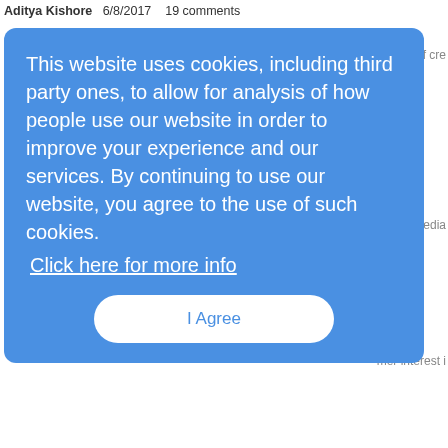Aditya Kishore   6/8/2017   19 comments
[Figure (screenshot): Cookie consent overlay on blue background reading: This website uses cookies, including third party ones, to allow for analysis of how people use our website in order to improve your experience and our services. By continuing to use our website, you agree to the use of such cookies. Click here for more info. Button: I Agree]
history of cre...
nt and Media...
mer interest i...
nternet of Thi...
Aditya Kishore   6/2/2017   27 comments
Major League Baseball and Intel will be providing virtual reality coverage of baseball games promote adoption of virtual reality via sports coverage.
Mobile Media Growth to Slow – Zenith Study
Aditya Kishore   5/31/2017   15 comments
Zenith's Media Consumption Forecasts predicts that the rapid growth in media consumption, consumption, will start to slow in the next few years.
Orange Serves VR, IoT at French Open Tennis Tournament
Aditya Kishore   5/30/2017   13 comments
Orange is working with the French tennis federation to offer a virtual reality tennis experience Open tournament, and using IoT technology to help organizers work more efficiently.